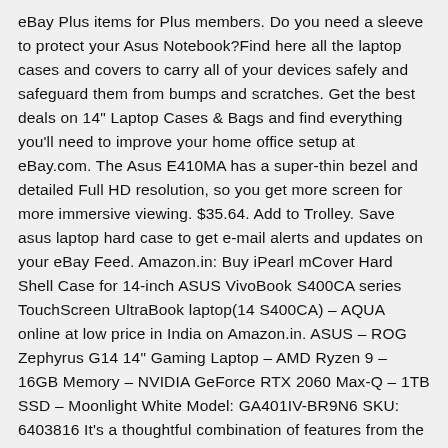eBay Plus items for Plus members. Do you need a sleeve to protect your Asus Notebook?Find here all the laptop cases and covers to carry all of your devices safely and safeguard them from bumps and scratches. Get the best deals on 14" Laptop Cases & Bags and find everything you'll need to improve your home office setup at eBay.com. The Asus E410MA has a super-thin bezel and detailed Full HD resolution, so you get more screen for more immersive viewing. $35.64. Add to Trolley. Save asus laptop hard case to get e-mail alerts and updates on your eBay Feed. Amazon.in: Buy iPearl mCover Hard Shell Case for 14-inch ASUS VivoBook S400CA series TouchScreen UltraBook laptop(14 S400CA) – AQUA online at low price in India on Amazon.in. ASUS – ROG Zephyrus G14 14" Gaming Laptop – AMD Ryzen 9 – 16GB Memory – NVIDIA GeForce RTX 2060 Max-Q – 1TB SSD – Moonlight White Model: GA401IV-BR9N6 SKU: 6403816 It's a thoughtful combination of features from the lightweight body shell to the battery sipping, cool-running processor, and the decent-size 14-inch screen. $14.95. Shop by category … UK Slim